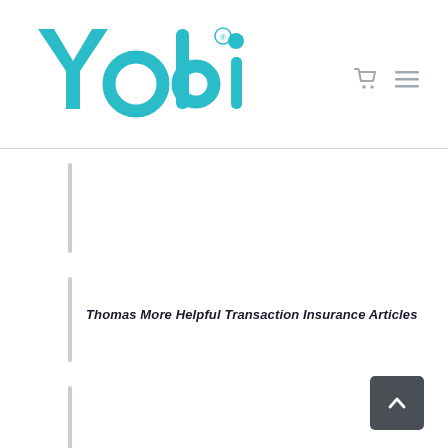[Figure (logo): Yobi logo in teal/cyan color with registered trademark symbol, bold rounded sans-serif lettering]
Thomas More Helpful Transaction Insurance Articles